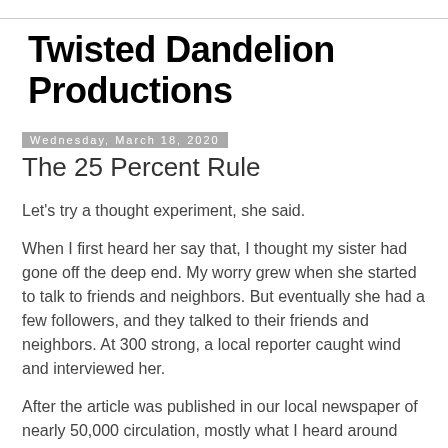Twisted Dandelion Productions
Wednesday, March 18, 2020
The 25 Percent Rule
Let's try a thought experiment, she said.
When I first heard her say that, I thought my sister had gone off the deep end. My worry grew when she started to talk to friends and neighbors. But eventually she had a few followers, and they talked to their friends and neighbors. At 300 strong, a local reporter caught wind and interviewed her.
After the article was published in our local newspaper of nearly 50,000 circulation, mostly what I heard around town was derision and laughter. But her followers actually grew by another hundred or so.